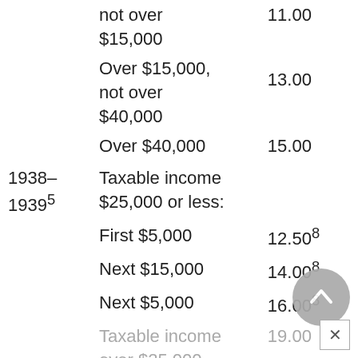| Year | Income Bracket | Rate |
| --- | --- | --- |
|  | not over $15,000 | 11.00 |
|  | Over $15,000, not over $40,000 | 13.00 |
|  | Over $40,000 | 15.00 |
| 1938–1939⁵ | Taxable income $25,000 or less: |  |
|  | First $5,000 | 12.50⁸ |
|  | Next $15,000 | 14.00⁸ |
|  | Next $5,000 | 16.00⁸ |
|  | Taxable income over $25,000 | 19.00 |